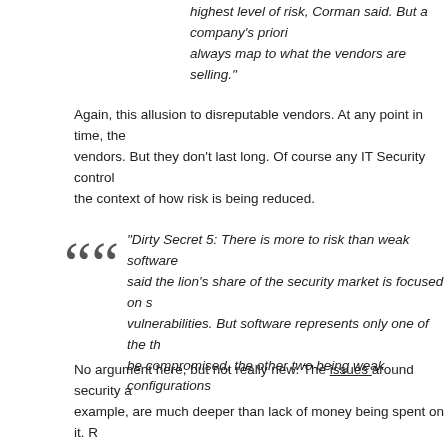highest level of risk, Corman said. But a company's priori always map to what the vendors are selling."
Again, this allusion to disreputable vendors. At any point in time, the vendors. But they don't last long. Of course any IT Security control the context of how risk is being reduced.
"Dirty Secret 5: There is more to risk than weak software said the lion's share of the security market is focused on s vulnerabilities. But software represents only one of the th be compromised, the other two being weak configurations
No argument here, but not really new. The issues around security a example, are much deeper than lack of money being spent on it. R management, has the issue been lack of attention or lack of good p issues? It's a hard problem.